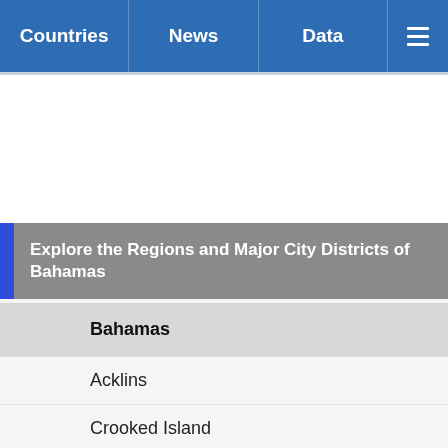Countries  News  Data
Explore the Regions and Major City Districts of Bahamas
Bahamas
Acklins
Crooked Island
Berry Islands
Bimini
Black Point
Exuma
Cat Island